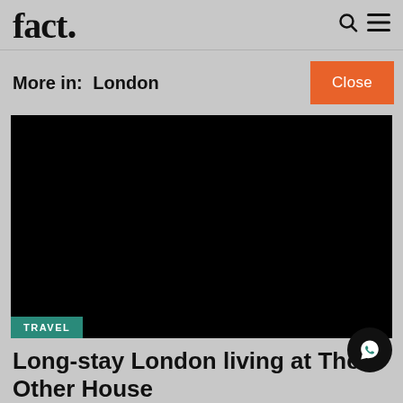fact.
More in:  London
[Figure (photo): A large black/dark image (article thumbnail) with a 'TRAVEL' category tag in teal at the bottom left]
Long-stay London living at The Other House